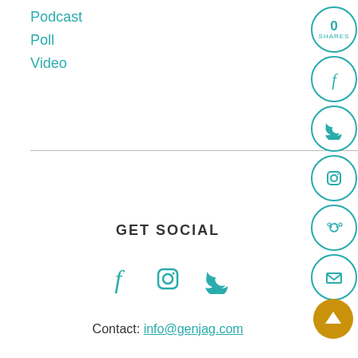Podcast
Poll
Video
GET SOCIAL
[Figure (illustration): Three social media icons: Facebook (f), Instagram (camera), Twitter (bird) in teal color]
Contact: info@genjag.com
[Figure (infographic): Right sidebar with circular share buttons: 0 SHARES counter, Facebook circle, Twitter circle, Instagram circle, Reddit circle, Email circle, and gold up-arrow circle button]